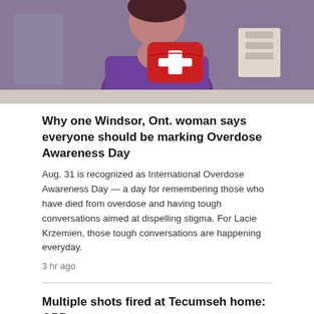[Figure (photo): Person in purple shirt holding a red first aid kit bag with a white cross on it, standing at a counter or table. Background shows a kitchen or medical setting.]
Why one Windsor, Ont. woman says everyone should be marking Overdose Awareness Day
Aug. 31 is recognized as International Overdose Awareness Day — a day for remembering those who have died from overdose and having tough conversations aimed at dispelling stigma. For Lacie Krzemien, those tough conversations are happening everyday.
3 hr ago
Multiple shots fired at Tecumseh home: OPP
6 hr ago
Three suspects arrested in alleged Windsor assault posted on social media